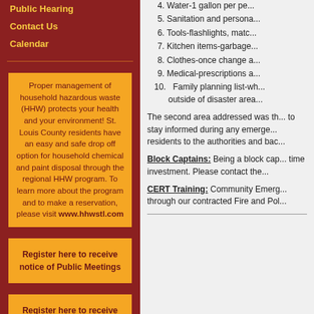Public Hearing
Contact Us
Calendar
Proper management of household hazardous waste (HHW) protects your health and your environment! St. Louis County residents have an easy and safe drop off option for household chemical and paint disposal through the regional HHW program. To learn more about the program and to make a reservation, please visit www.hhwstl.com
Register here to receive notice of Public Meetings
Register here to receive Updates from the Police Department
4. Water-1 gallon per pe...
5. Sanitation and persona...
6. Tools-flashlights, matc...
7. Kitchen items-garbage...
8. Clothes-once change a...
9. Medical-prescriptions a...
10. Family planning list-wh... outside of disaster area...
The second area addressed was th... to stay informed during any emerge... residents to the authorities and bac...
Block Captains: Being a block cap... time investment. Please contact the...
CERT Training: Community Emerg... through our contracted Fire and Pol...